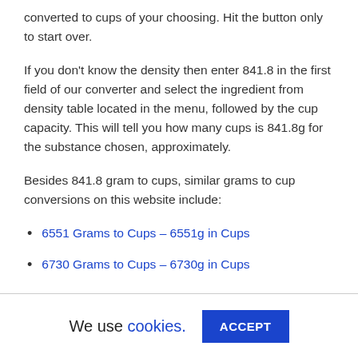converted to cups of your choosing. Hit the button only to start over.
If you don't know the density then enter 841.8 in the first field of our converter and select the ingredient from density table located in the menu, followed by the cup capacity. This will tell you how many cups is 841.8g for the substance chosen, approximately.
Besides 841.8 gram to cups, similar grams to cup conversions on this website include:
6551 Grams to Cups – 6551g in Cups
6730 Grams to Cups – 6730g in Cups
We use cookies. ACCEPT